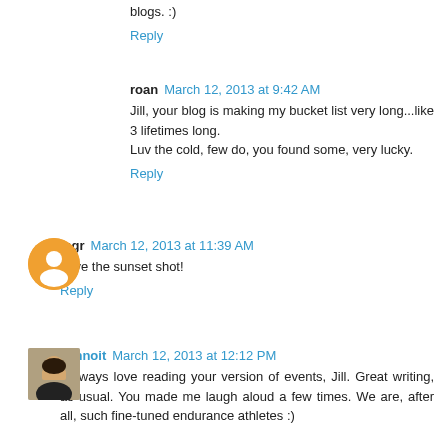blogs. :)
Reply
roan March 12, 2013 at 9:42 AM
Jill, your blog is making my bucket list very long...like 3 lifetimes long.
Luv the cold, few do, you found some, very lucky.
Reply
mgr March 12, 2013 at 11:39 AM
Love the sunset shot!
Reply
Jennoit March 12, 2013 at 12:12 PM
I always love reading your version of events, Jill. Great writing, as usual. You made me laugh aloud a few times. We are, after all, such fine-tuned endurance athletes :)